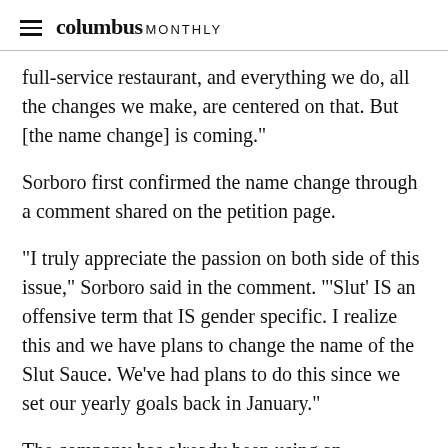columbus MONTHLY
full-service restaurant, and everything we do, all the changes we make, are centered on that. But [the name change] is coming."
Sorboro first confirmed the name change through a comment shared on the petition page.
"I truly appreciate the passion on both side of this issue," Sorboro said in the comment. "'Slut' IS an offensive term that IS gender specific. I realize this and we have plans to change the name of the Slut Sauce. We've had plans to do this since we set our yearly goals back in January."
The company has already been using an